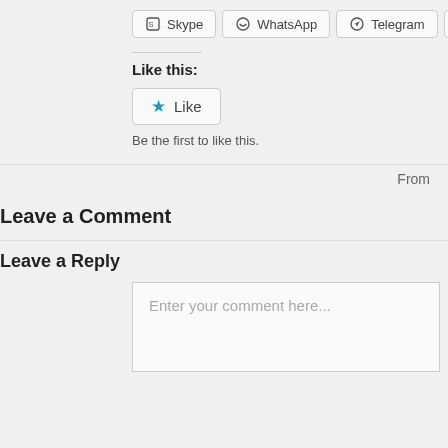[Figure (screenshot): Row of share buttons: Skype, WhatsApp, Telegram, More]
Like this:
[Figure (screenshot): Like button with star icon]
Be the first to like this.
From
Leave a Comment
Leave a Reply
Enter your comment here...